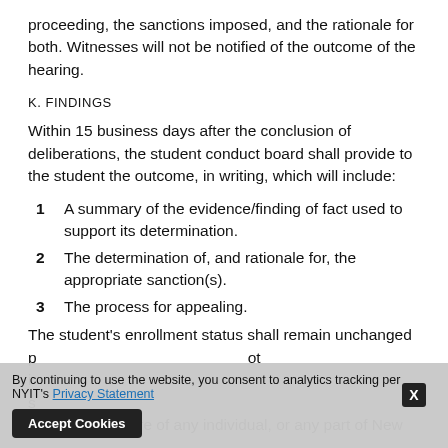proceeding, the sanctions imposed, and the rationale for both. Witnesses will not be notified of the outcome of the hearing.
K. FINDINGS
Within 15 business days after the conclusion of deliberations, the student conduct board shall provide to the student the outcome, in writing, which will include:
1  A summary of the evidence/finding of fact used to support its determination.
2  The determination of, and rationale for, the appropriate sanction(s).
3  The process for appealing.
The student's enrollment status shall remain unchanged p... not i... s... or general welfare of any individual, or any part of New